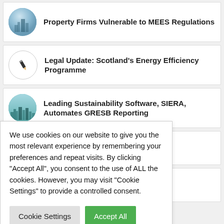Property Firms Vulnerable to MEES Regulations
[Figure (illustration): Circular icon with building/sky image]
Legal Update: Scotland's Energy Efficiency Programme
[Figure (illustration): Circular icon with pencil symbol]
Leading Sustainability Software, SIERA, Automates GRESB Reporting
[Figure (illustration): Circular icon with city skyline image]
rmance
fographic]
We use cookies on our website to give you the most relevant experience by remembering your preferences and repeat visits. By clicking "Accept All", you consent to the use of ALL the cookies. However, you may visit "Cookie Settings" to provide a controlled consent.
Cookie Settings
Accept All